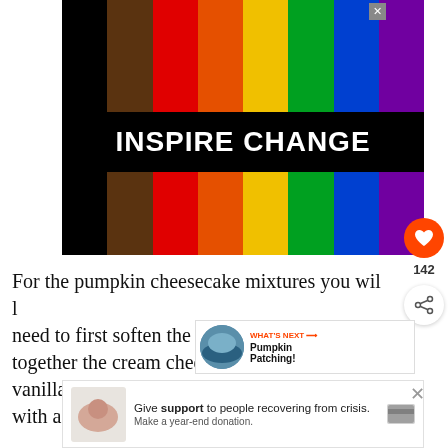[Figure (illustration): INSPIRE CHANGE advertisement with rainbow/pride flag color stripes on black background with white bold text 'INSPIRE CHANGE' in the center band]
For the pumpkin cheesecake mixtures you will need to first soften the cream cheese, then together the cream cheese, egg, sugar and vanilla with a mixer. Once the mixture...
[Figure (infographic): WHAT'S NEXT callout with image and text 'Pumpkin Patching!']
[Figure (infographic): Bottom advertisement: Give support to people recovering from crisis. Make a year-end donation.]